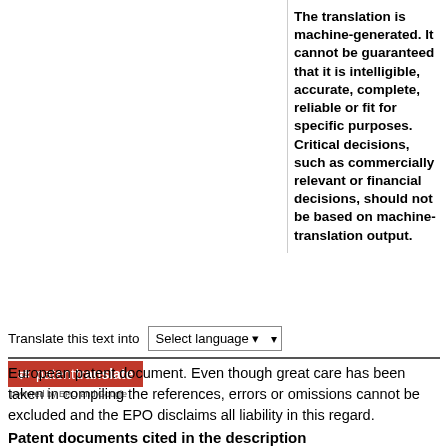The translation is machine-generated. It cannot be guaranteed that it is intelligible, accurate, complete, reliable or fit for specific purposes. Critical decisions, such as commercially relevant or financial decisions, should not be based on machine-translation output.
[Figure (other): Patent Translate widget: 'Translate this text into' label with language selector dropdown, and a red Patent Translate logo badge with 'powered by EPO and Google' text beneath]
European patent document. Even though great care has been taken in compiling the references, errors or omissions cannot be excluded and the EPO disclaims all liability in this regard.
Patent documents cited in the description